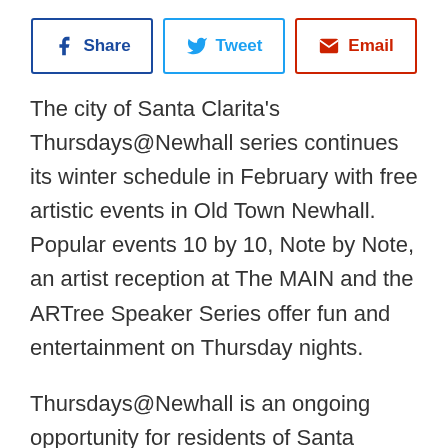[Figure (other): Three social sharing buttons side by side: Share (Facebook, blue border), Tweet (Twitter, light blue border), Email (red border)]
The city of Santa Clarita's Thursdays@Newhall series continues its winter schedule in February with free artistic events in Old Town Newhall. Popular events 10 by 10, Note by Note, an artist reception at The MAIN and the ARTree Speaker Series offer fun and entertainment on Thursday nights.
Thursdays@Newhall is an ongoing opportunity for residents of Santa Clarita to attend free shows and concerts on Thursdays in Old Town Newhall.
The schedule begins on February 1 at The MAIN,